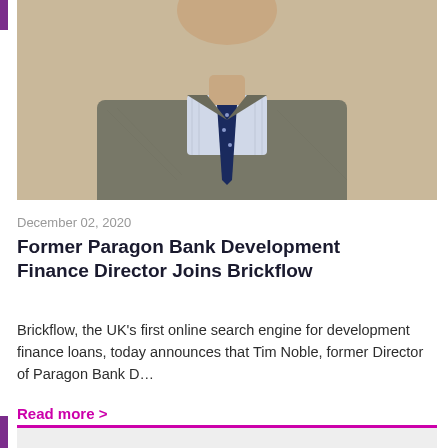[Figure (photo): Portrait photo of a man in a grey suit with a navy polka-dot tie and striped shirt, cropped to show torso and lower face, beige/cream background.]
December 02, 2020
Former Paragon Bank Development Finance Director Joins Brickflow
Brickflow, the UK's first online search engine for development finance loans, today announces that Tim Noble, former Director of Paragon Bank D…
Read more >